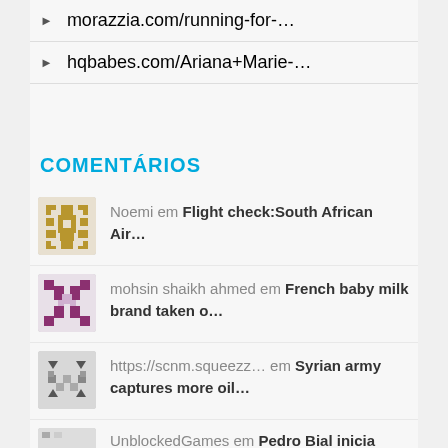morazzia.com/running-for-…
hqbabes.com/Ariana+Marie-…
COMENTÁRIOS
Noemi em Flight check:South African Air…
mohsin shaikh ahmed em French baby milk brand taken o…
https://scnm.squeezz… em Syrian army captures more oil…
UnblockedGames em Pedro Bial inicia…